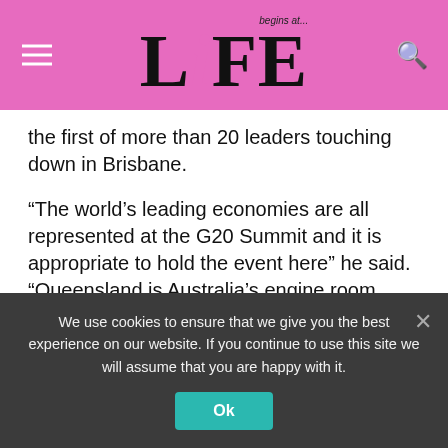Life Begins At — begins at... LiFE
the first of more than 20 leaders touching down in Brisbane.
“The world’s leading economies are all represented at the G20 Summit and it is appropriate to hold the event here” he said. “Queensland is Australia’s engine room, with the economy growing quickly around our four pillars of tourism, agriculture, resources and construction.
“There will also be thousands of delegates including business and thought leaders along with
We use cookies to ensure that we give you the best experience on our website. If you continue to use this site we will assume that you are happy with it.